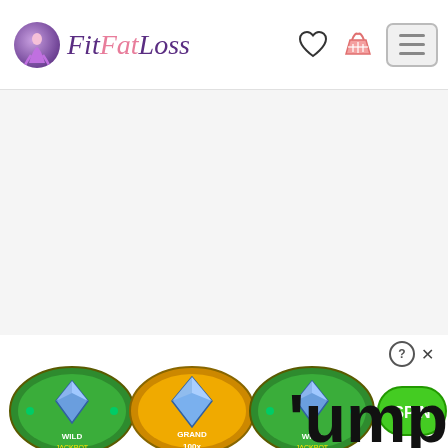FitFatLoss – navigation header with logo, heart icon, basket icon, and hamburger menu
[Figure (screenshot): FitFatLoss website header with circular logo showing a figure, stylized italic script logo text 'FitFatLoss' in purple and pink, heart outline icon, pink shopping basket icon, and grey hamburger menu button]
[Figure (illustration): Casino slot machine advertisement showing three oval badges with blue diamond gems (labelled 'WILD JACKPOT', 'GRAND 100X', 'WILD JACKPOT') and a green SPIN button, with partial bold text 'ump' visible at bottom right. Ad has a question mark and X close button above it.]